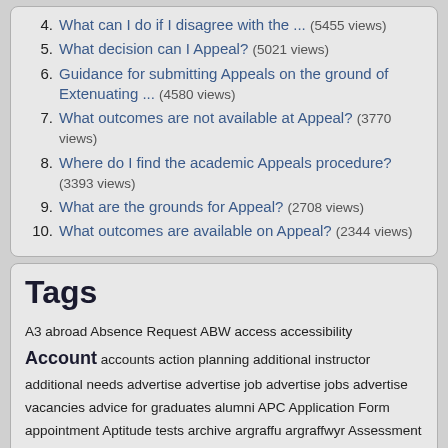4. What can I do if I disagree with the ... (5455 views)
5. What decision can I Appeal? (5021 views)
6. Guidance for submitting Appeals on the ground of Extenuating ... (4580 views)
7. What outcomes are not available at Appeal? (3770 views)
8. Where do I find the academic Appeals procedure? (3393 views)
9. What are the grounds for Appeal? (2708 views)
10. What outcomes are available on Appeal? (2344 views)
Tags
A3 abroad Absence Request ABW access accessibility Account accounts action planning additional instructor additional needs advertise advertise job advertise jobs advertise vacancies advice for graduates alumni APC Application Form appointment Aptitude tests archive argraffu argraffwyr Assessment Centres assignment assistance assistive technology Authorise Signatory bae Banwen bay Blackbaord blackboard blackboard account Blackboard tests blog browser